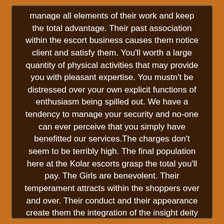manage all elements of their work and keep the total advantage. Their past association within the escort business causes them notice client and satisfy them. You'll worth a large quantity of physical activities that may provide you with pleasant expertise. You mustn't be distressed over your own explicit functions of enthusiasm being spilled out. We have a tendency to manage your security and no-one can ever perceive that you simply have benefitted our services.The charges don't seem to be terribly high. The final population here at the Kolar escorts grasp the total you'll pay. The Girls are benevolent. Their temperament attracts within the shoppers over and over. Their conduct and their appearance create them the integration of the insight deity with the deity of material resource. They're beautiful still as advanced. The